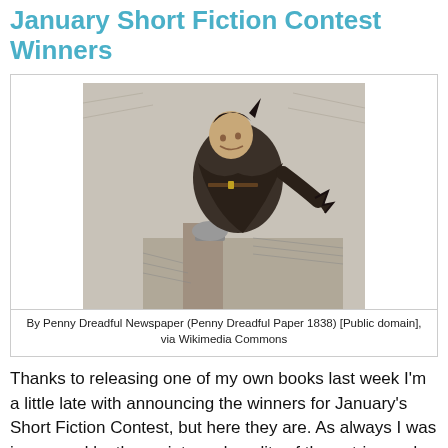January Short Fiction Contest Winners
[Figure (illustration): Black and white engraving of a cloaked, sinister-looking figure crouching or leaping over a fence post, in the style of Victorian penny dreadful newspaper illustration (1838).]
By Penny Dreadful Newspaper (Penny Dreadful Paper 1838) [Public domain], via Wikimedia Commons
Thanks to releasing one of my own books last week I'm a little late with announcing the winners for January's Short Fiction Contest, but here they are. As always I was impressed by the variety and quality of the entries and we had a lot of new writers taking part this month. Thank you to